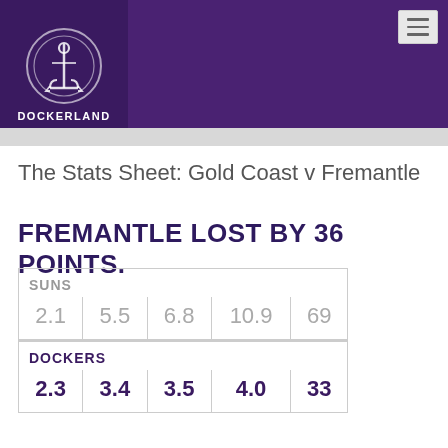[Figure (logo): Dockerland website header with anchor logo and purple background. Menu button top right.]
The Stats Sheet: Gold Coast v Fremantle
FREMANTLE LOST BY 36 POINTS.
| SUNS |  |  |  |  |
| 2.1 | 5.5 | 6.8 | 10.9 | 69 |
| DOCKERS |  |  |  |  |
| 2.3 | 3.4 | 3.5 | 4.0 | 33 |